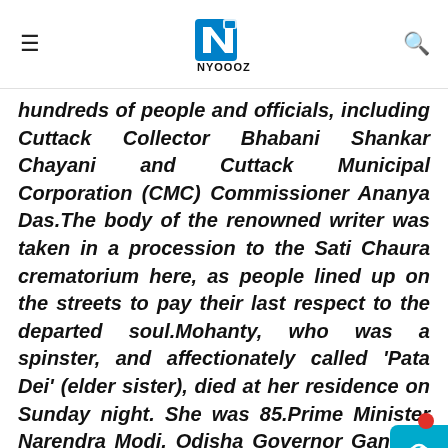NYOOOZ — No City No News (logo header with hamburger menu and search icon)
hundreds of people and officials, including Cuttack Collector Bhabani Shankar Chayani and Cuttack Municipal Corporation (CMC) Commissioner Ananya Das.The body of the renowned writer was taken in a procession to the Sati Chaura crematorium here, as people lined up on the streets to pay their last respect to the departed soul.Mohanty, who was a spinster, and affectionately called 'Pata Dei' (elder sister), died at her residence on Sunday night. She was 85.Prime Minister Narendra Modi, Odisha Governor Ganeshi Lal, Chief Minister Naveen Patnaik and Union Minister Dharmendra Pradhan, among others, have